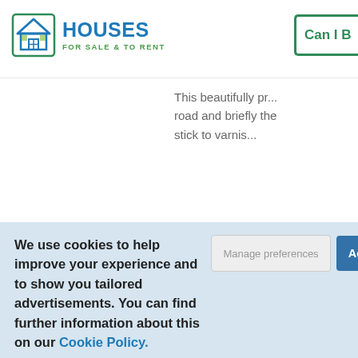HOUSES FOR SALE & TO RENT
This beautifully pr... road and briefly the... stick to varnis...
We use cookies to help improve your experience and to show you tailored advertisements. You can find further information about this on our Cookie Policy.